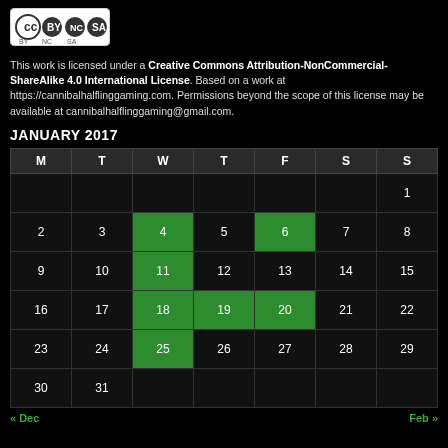[Figure (logo): Creative Commons BY NC SA license icons]
This work is licensed under a Creative Commons Attribution-NonCommercial-ShareAlike 4.0 International License. Based on a work at https://cannibalhalflinggaming.com. Permissions beyond the scope of this license may be available at cannibalhalflinggaming@gmail.com.
JANUARY 2017
| M | T | W | T | F | S | S |
| --- | --- | --- | --- | --- | --- | --- |
|  |  |  |  |  |  | 1 |
| 2 | 3 | 4 | 5 | 6 | 7 | 8 |
| 9 | 10 | 11 | 12 | 13 | 14 | 15 |
| 16 | 17 | 18 | 19 | 20 | 21 | 22 |
| 23 | 24 | 25 | 26 | 27 | 28 | 29 |
| 30 | 31 |  |  |  |  |  |
« Dec   Feb »